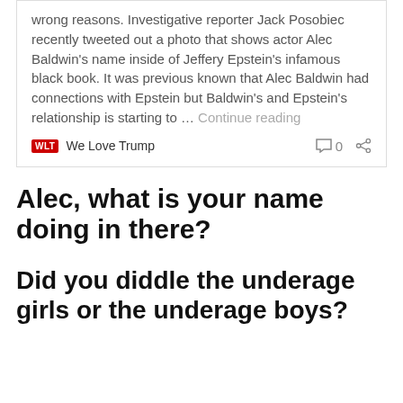wrong reasons. Investigative reporter Jack Posobiec recently tweeted out a photo that shows actor Alec Baldwin's name inside of Jeffery Epstein's infamous black book. It was previous known that Alec Baldwin had connections with Epstein but Baldwin's and Epstein's relationship is starting to … Continue reading
WLT  We Love Trump  0
Alec, what is your name doing in there?
Did you diddle the underage girls or the underage boys?